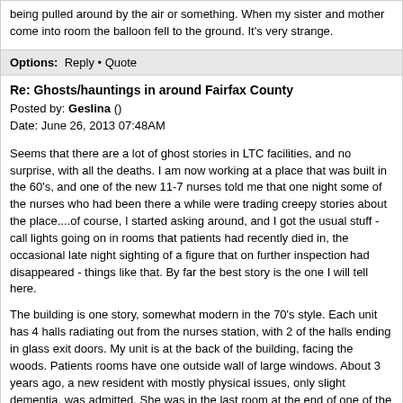being pulled around by the air or something. When my sister and mother come into room the balloon fell to the ground. It's very strange.
Options:  Reply • Quote
Re: Ghosts/hauntings in around Fairfax County
Posted by: Geslina ()
Date: June 26, 2013 07:48AM
Seems that there are a lot of ghost stories in LTC facilities, and no surprise, with all the deaths. I am now working at a place that was built in the 60's, and one of the new 11-7 nurses told me that one night some of the nurses who had been there a while were trading creepy stories about the place....of course, I started asking around, and I got the usual stuff - call lights going on in rooms that patients had recently died in, the occasional late night sighting of a figure that on further inspection had disappeared - things like that. By far the best story is the one I will tell here.
The building is one story, somewhat modern in the 70's style. Each unit has 4 halls radiating out from the nurses station, with 2 of the halls ending in glass exit doors. My unit is at the back of the building, facing the woods. Patients rooms have one outside wall of large windows. About 3 years ago, a new resident with mostly physical issues, only slight dementia, was admitted. She was in the last room at the end of one of the exit halls. After she had been there about a week, she started complaining about a man outside, looking in her windows. At first the nurses blew it off, thinking she was just confused, being in a new place, etc - I mean, some of the things the patients say are pretty wild, we are used to hearing all kinds of crazy things. But, with this lady, the complaints of this man became regular, and did not differ - always a man, standing right outside her window, looking in at her. They thought maybe we had a peeping Tom, and one of the male nurses started going outside to look